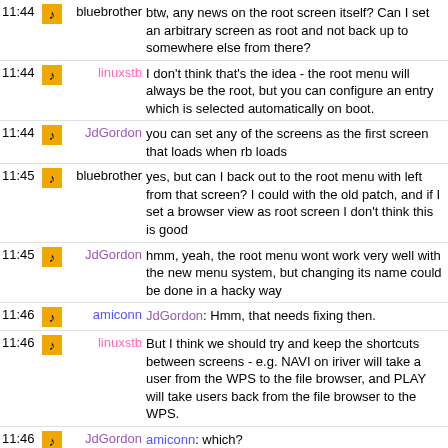11:44 bluebrother btw, any news on the root screen itself? Can I set an arbitrary screen as root and not back up to somewhere else from there?
11:44 linuxstb I don't think that's the idea - the root menu will always be the root, but you can configure an entry which is selected automatically on boot.
11:44 JdGordon you can set any of the screens as the first screen that loads when rb loads
11:45 bluebrother yes, but can I back out to the root menu with left from that screen? I could with the old patch, and if I set a browser view as root screen I don't think this is good
11:45 JdGordon hmm, yeah, the root menu wont work very well with the new menu system, but changing its name could be done in a hacky way
11:46 amiconn JdGordon: Hmm, that needs fixing then.
11:46 linuxstb But I think we should try and keep the shortcuts between screens - e.g. NAVI on iriver will take a user from the WPS to the file browser, and PLAY will take users back from the file browser to the WPS.
11:46 JdGordon amiconn: which?
11:46 amiconn On some targets, the radio might or might not be present
11:46 JdGordon yeah, of course
11:46 linuxstb (but via the root menu screen in a clean way).
11:46 JdGordon bluebrother: yes, ill fix that
11:47 bluebrother still, I think we should understand the root menu as a new main menu, and an option to set an arbitrary screen as